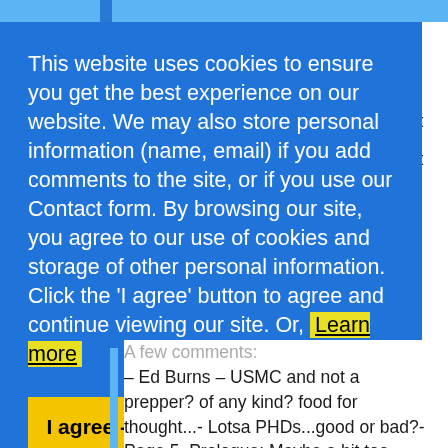This website uses cookies to ensure you get the best experience on our website. We may also store personal information (name, email) if you add comments to the site, or if you use our Contact form. By browsing our site, you agree to our use of cookies and storage of other personal information. Click the 'I agree' button to agree and continue viewing our site. Or, Learn more
I agree - OK with me! (Click here)
A few comments: – Ed Burns – USMC and not a prepper? of any kind? food for thought...- Lotsa PHDs...good or bad?- Page 5, Prologue: Maybe a bit too much detail in the